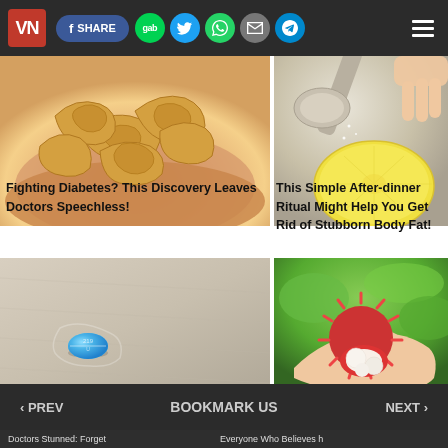VN | SHARE | gab | [twitter] | [whatsapp] | [email] | [telegram] | [menu]
[Figure (photo): A hand holding a pile of cashew nuts]
[Figure (photo): A spoon pouring sugar or salt onto a lemon half]
Fighting Diabetes? This Discovery Leaves Doctors Speechless!
This Simple After-dinner Ritual Might Help You Get Rid of Stubborn Body Fat!
[Figure (photo): A small blue pill on a sandy surface]
[Figure (photo): A hand holding an open rambutan fruit showing white flesh]
‹ PREV   BOOKMARK US   NEXT ›
Doctors Stunned: Forget   Everyone Who Believes h